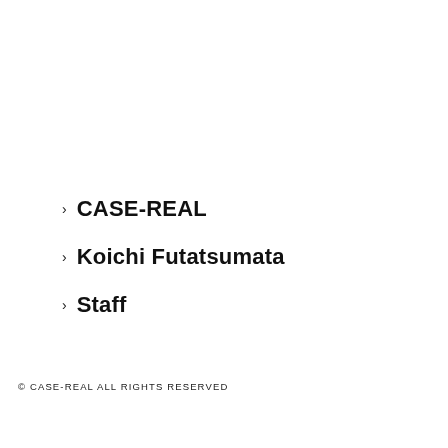› CASE-REAL
› Koichi Futatsumata
› Staff
© CASE-REAL ALL RIGHTS RESERVED